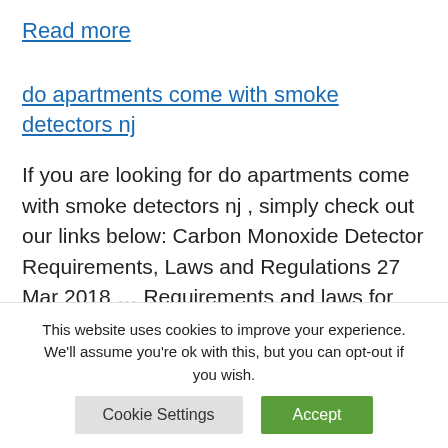Read more
do apartments come with smoke detectors nj
If you are looking for do apartments come with smoke detectors nj , simply check out our links below: Carbon Monoxide Detector Requirements, Laws and Regulations 27 Mar 2018 ... Requirements and laws for carbon monoxide detectors differ from state to ... Connecticut requires them in all
This website uses cookies to improve your experience. We'll assume you're ok with this, but you can opt-out if you wish. Cookie Settings Accept